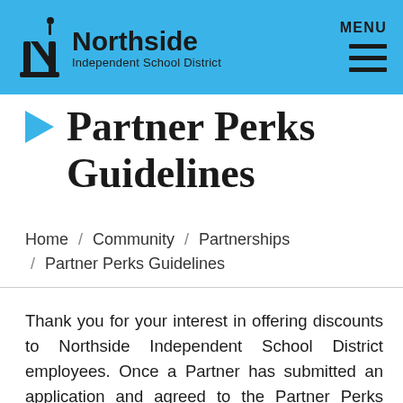Northside Independent School District — MENU
Partner Perks Guidelines
Home / Community / Partnerships / Partner Perks Guidelines
Thank you for your interest in offering discounts to Northside Independent School District employees. Once a Partner has submitted an application and agreed to the Partner Perks Program Guidelines, the NISD Partnerships Office will review the application. To obtain approval for the NISD Partner Perks Program an application must be fully completed and Partners must agree and adhere to